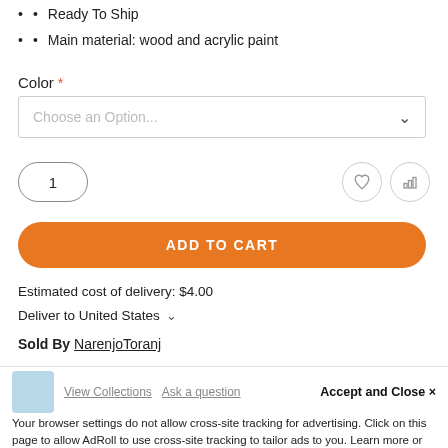Ready To Ship
Main material: wood and acrylic paint
Color *
[Figure (screenshot): Dropdown selector with placeholder text 'Choose an Option...' and a chevron arrow]
[Figure (screenshot): Quantity input showing '1' in an oval border, with heart and bar-chart icon buttons]
[Figure (screenshot): Orange 'ADD TO CART' button with rounded corners]
Estimated cost of delivery: $4.00
Deliver to United States
Sold By NarenjoToranj
Accept and Close ×
Your browser settings do not allow cross-site tracking for advertising. Click on this page to allow AdRoll to use cross-site tracking to tailor ads to you. Learn more or opt out of this AdRoll tracking by clicking here. This message only appears once.